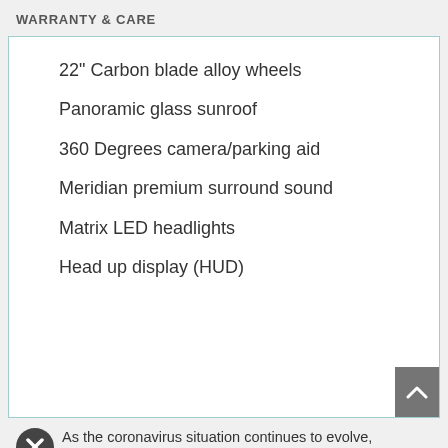WARRANTY & CARE
22" Carbon blade alloy wheels
Panoramic glass sunroof
360 Degrees camera/parking aid
Meridian premium surround sound
Matrix LED headlights
Head up display (HUD)
As the coronavirus situation continues to evolve, Hofmanns have implemented the following precautions for our customers and employees. Please click here to read more.